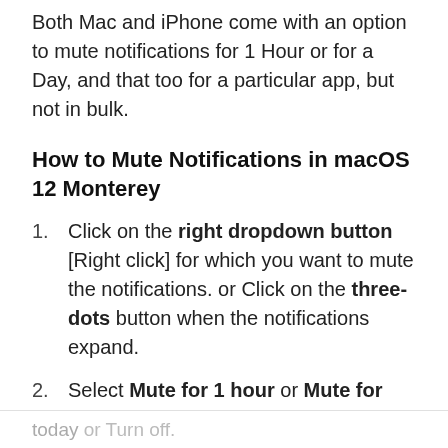Both Mac and iPhone come with an option to mute notifications for 1 Hour or for a Day, and that too for a particular app, but not in bulk.
How to Mute Notifications in macOS 12 Monterey
Click on the right dropdown button [Right click] for which you want to mute the notifications. or Click on the three-dots button when the notifications expand.
Select Mute for 1 hour or Mute for today or Turn off.